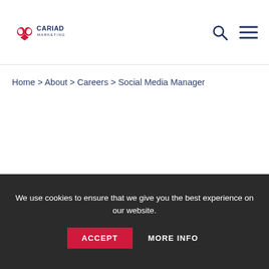[Figure (logo): Cariad Marketing logo with infinity/heart symbol in red and dark navy CARIAD MARKETING text]
Home > About > Careers > Social Media Manager
We use cookies to ensure that we give you the best experience on our website.